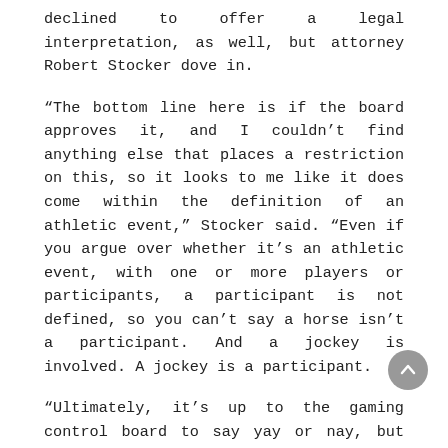declined to offer a legal interpretation, as well, but attorney Robert Stocker dove in.
“The bottom line here is if the board approves it, and I couldn’t find anything else that places a restriction on this, so it looks to me like it does come within the definition of an athletic event,” Stocker said. “Even if you argue over whether it’s an athletic event, with one or more players or participants, a participant is not defined, so you can’t say a horse isn’t a participant. And a jockey is involved. A jockey is a participant.
“Ultimately, it’s up to the gaming control board to say yay or nay, but when I look at the language, I can see why the board staff is basically saying no comment. They’re probably looking at it, if this is something they want to permit, but the wording of ‘athletic event’ is broad enough to arguably cover the situation.”
Stocker is correct, as Dennis Drazin and Bill Pascrell III, both